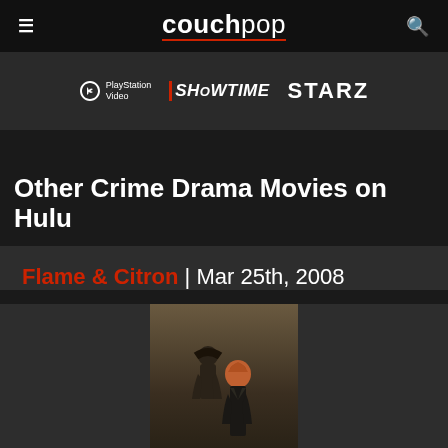couchpop
[Figure (logo): Streaming service logos: PlayStation Video, SHOWTIME, STARZ]
Other Crime Drama Movies on Hulu
Flame & Citron | Mar 25th, 2008
[Figure (photo): Movie poster for Flame & Citron (Flammen & Citronen), showing two figures in dark coats, one with a hat, released Mar 25th, 2008]